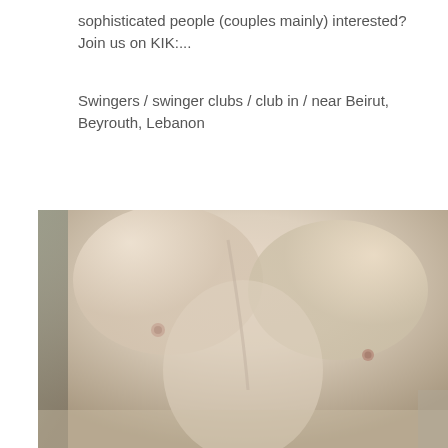sophisticated people (couples mainly) interested? Join us on KIK:...
Swingers / swinger clubs / club in / near Beirut, Beyrouth, Lebanon
[Figure (photo): Close-up photo of a human torso (chest/abdomen area), skin visible]